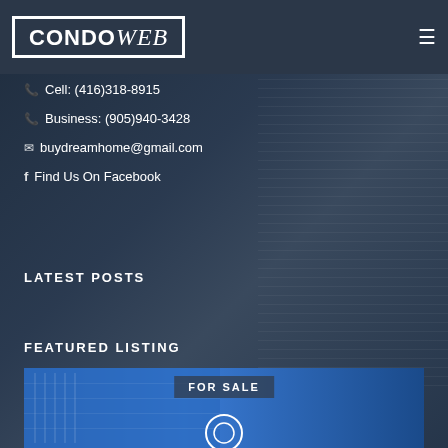[Figure (logo): CondoWeb logo — white box border with CONDO in bold uppercase and Web in italic script]
Cell: (416)318-8915
Business: (905)940-3428
buydreamhome@gmail.com
Find Us On Facebook
LATEST POSTS
FEATURED LISTING
[Figure (photo): Condo building photo with blue glass facade and FOR SALE badge overlay]